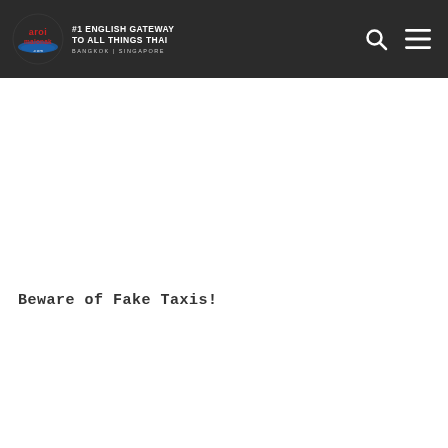aroi malonak #1 ENGLISH GATEWAY TO ALL THINGS THAI BANGKOK | SINGAPORE
Beware of Fake Taxis!